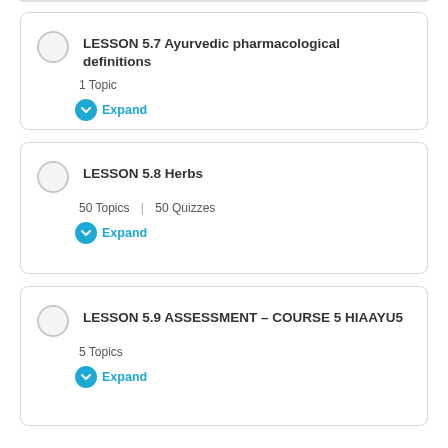LESSON 5.7 Ayurvedic pharmacological definitions
1 Topic
Expand
LESSON 5.8 Herbs
50 Topics | 50 Quizzes
Expand
LESSON 5.9 ASSESSMENT – COURSE 5 HIAAYU5
5 Topics
Expand